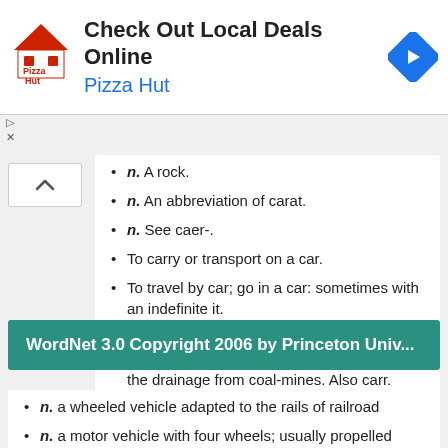[Figure (screenshot): Pizza Hut advertisement banner with logo, text 'Check Out Local Deals Online', 'Pizza Hut' in blue, and a blue navigation arrow icon]
n. A rock.
n. An abbreviation of carat.
n. See caer-.
To carry or transport on a car.
To travel by car; go in a car: sometimes with an indefinite it.
n. A yellowish brown sediment deposited from water which contains salts of iron, as in the drainage from coal-mines. Also carr.
WordNet 3.0 Copyright 2006 by Princeton Univ...
n. a wheeled vehicle adapted to the rails of railroad
n. a motor vehicle with four wheels; usually propelled